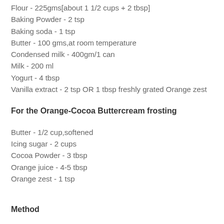Flour - 225gms[about 1 1/2 cups + 2 tbsp]
Baking Powder - 2 tsp
Baking soda - 1 tsp
Butter - 100 gms,at room temperature
Condensed milk - 400gm/1 can
Milk - 200 ml
Yogurt - 4 tbsp
Vanilla extract - 2 tsp OR 1 tbsp freshly grated Orange zest
For the Orange-Cocoa Buttercream frosting
Butter - 1/2 cup,softened
Icing sugar - 2 cups
Cocoa Powder - 3 tbsp
Orange juice - 4-5 tbsp
Orange zest - 1 tsp
Method